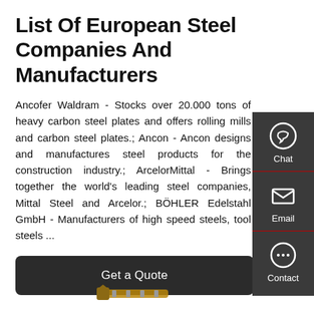List Of European Steel Companies And Manufacturers
Ancofer Waldram - Stocks over 20.000 tons of heavy carbon steel plates and offers rolling mills and carbon steel plates.; Ancon - Ancon designs and manufactures steel products for the construction industry.; ArcelorMittal - Brings together the world's leading steel companies, Mittal Steel and Arcelor.; BÖHLER Edelstahl GmbH - Manufacturers of high speed steels, tool steels ...
Get a Quote
[Figure (illustration): Partial view of metal bolts/fasteners at bottom of page]